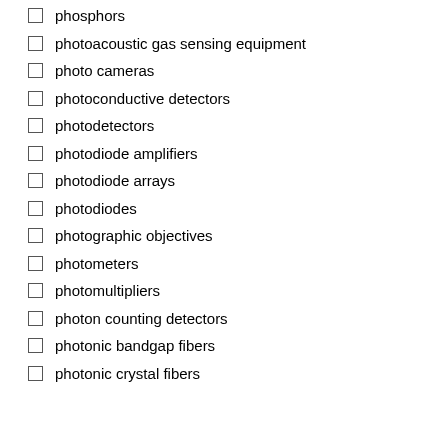phosphors
photoacoustic gas sensing equipment
photo cameras
photoconductive detectors
photodetectors
photodiode amplifiers
photodiode arrays
photodiodes
photographic objectives
photometers
photomultipliers
photon counting detectors
photonic bandgap fibers
photonic crystal fibers